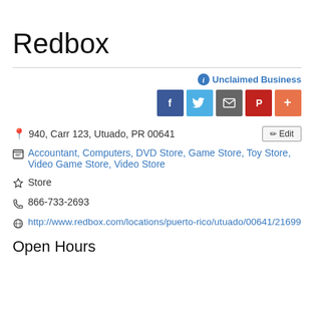Redbox
Unclaimed Business
940, Carr 123, Utuado, PR 00641
Accountant, Computers, DVD Store, Game Store, Toy Store, Video Game Store, Video Store
Store
866-733-2693
http://www.redbox.com/locations/puerto-rico/utuado/00641/21699
Open Hours